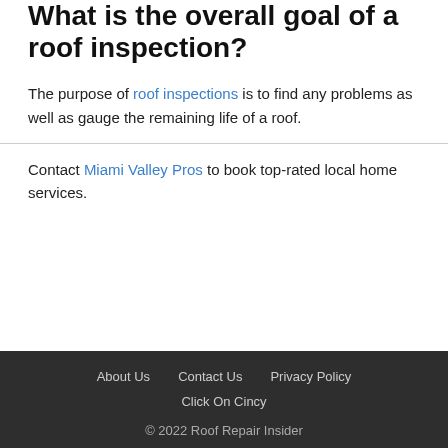What is the overall goal of a roof inspection?
The purpose of roof inspections is to find any problems as well as gauge the remaining life of a roof.
Contact Miami Valley Pros to book top-rated local home services.
About Us   Contact Us   Privacy Policy   Click On Cincy   © 2022 Roof Repair Insider